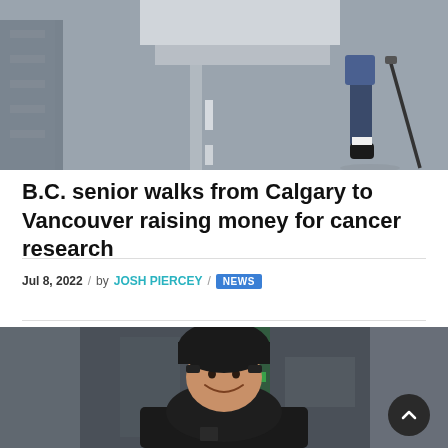[Figure (photo): A person walking on a road with a walking stick, with a vehicle visible in the background. Shot from behind showing legs and feet.]
B.C. senior walks from Calgary to Vancouver raising money for cancer research
Jul 8, 2022 / by JOSH PIERCEY / NEWS
[Figure (photo): A smiling woman wearing a black cycling helmet and a purple neck gaiter, dressed in a black jacket, photographed indoors with a blurred background.]